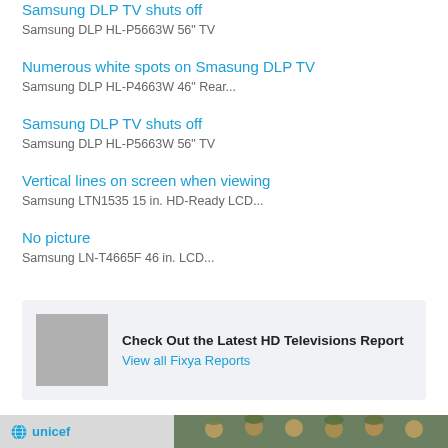Samsung DLP TV shuts off
Samsung DLP HL-P5663W 56" TV
Numerous white spots on Smasung DLP TV
Samsung DLP HL-P4663W 46" Rear...
Samsung DLP TV shuts off
Samsung DLP HL-P5663W 56" TV
Vertical lines on screen when viewing
Samsung LTN1535 15 in. HD-Ready LCD...
No picture
Samsung LN-T4665F 46 in. LCD...
[Figure (infographic): Advertisement box: Check Out the Latest HD Televisions Report. View all Fixya Reports. Contains a gray placeholder image on the left.]
[Figure (photo): UNICEF advertisement banner at bottom showing smiling children and UNICEF logo]